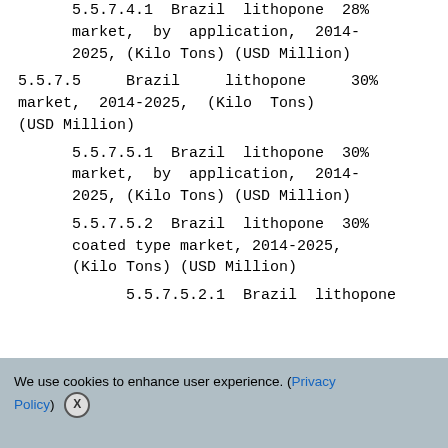5.5.7.4.1 Brazil lithopone 28% market, by application, 2014-2025, (Kilo Tons) (USD Million)
5.5.7.5 Brazil lithopone 30% market, 2014-2025, (Kilo Tons) (USD Million)
5.5.7.5.1 Brazil lithopone 30% market, by application, 2014-2025, (Kilo Tons) (USD Million)
5.5.7.5.2 Brazil lithopone 30% coated type market, 2014-2025, (Kilo Tons) (USD Million)
5.5.7.5.2.1 Brazil lithopone
We use cookies to enhance user experience. (Privacy Policy) X